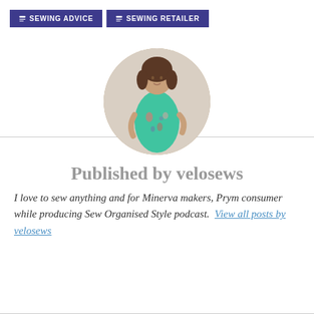SEWING ADVICE   SEWING RETAILER
[Figure (photo): Circular profile photo of a woman wearing a teal floral dress, standing in front of a light-colored wall.]
Published by velosews
I love to sew anything and for Minerva makers, Prym consumer while producing Sew Organised Style podcast.  View all posts by velosews